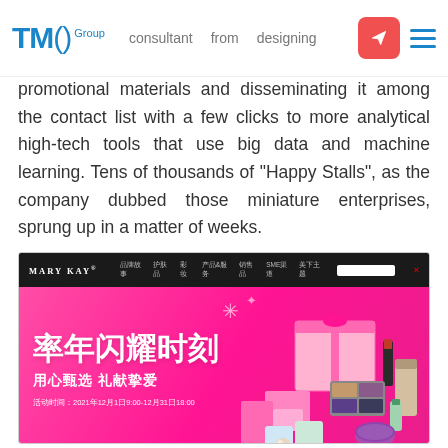TMO Group
possible digital support, in advancing help of as a consultant from designing promotional materials and disseminating it among the contact list with a few clicks to more analytical high-tech tools that use big data and machine learning. Tens of thousands of “Happy Stalls”, as the company dubbed those miniature enterprises, sprung up in a matter of weeks.
[Figure (screenshot): Screenshot of Mary Kay China website with pink banner featuring Chinese text 闪耀时刻 and cosmetic products, dated 2021年12月1日9:00-12月31日18:00]